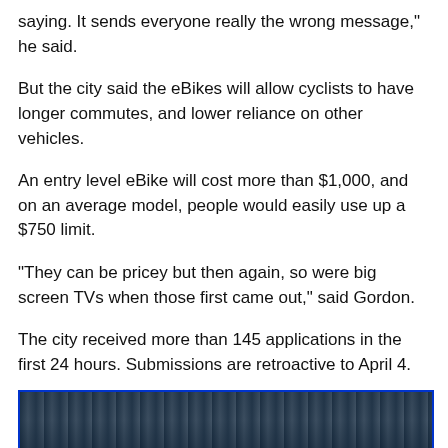saying. It sends everyone really the wrong message," he said.
But the city said the eBikes will allow cyclists to have longer commutes, and lower reliance on other vehicles.
An entry level eBike will cost more than $1,000, and on an average model, people would easily use up a $750 limit.
"They can be pricey but then again, so were big screen TVs when those first came out," said Gordon.
The city received more than 145 applications in the first 24 hours. Submissions are retroactive to April 4.
With files from CTV News Edmonton's Dan Grummett
RELATED IMAGES
[Figure (photo): Partial view of related image strip at bottom of page]